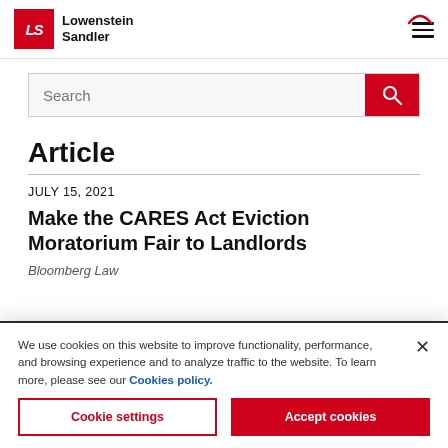[Figure (logo): Lowenstein Sandler law firm logo with red LS box and firm name]
Search
Article
JULY 15, 2021
Make the CARES Act Eviction Moratorium Fair to Landlords
Bloomberg Law
We use cookies on this website to improve functionality, performance, and browsing experience and to analyze traffic to the website. To learn more, please see our Cookies policy.
Cookie settings
Accept cookies